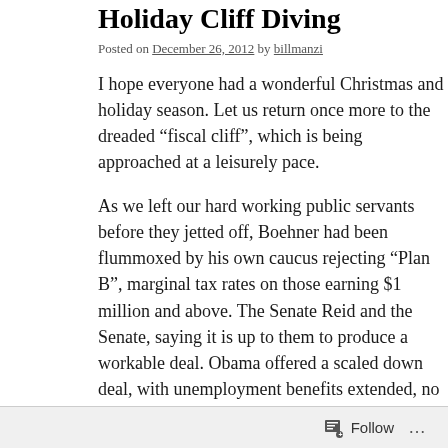Holiday Cliff Diving
Posted on December 26, 2012 by billmanzi
I hope everyone had a wonderful Christmas and holiday season. Let us return once more to the dreaded “fiscal cliff”, which is being approached at a leisurely pace.
As we left our hard working public servants before they jetted off, Boehner had been flummoxed by his own caucus rejecting “Plan B”, marginal tax rates on those earning $1 million and above. The Speaker tossed it to Reid and the Senate, saying it is up to them to produce a workable deal. Obama offered a scaled down deal, with unemployment benefits extended, no tax hikes under $250,000, and some other unspecified items. Those other, unspecified items are the AMT Patch, some recommendation on the estate tax, and a measure that would essentially boil down to creating Sequester 2 in 2013. Left out is the debt ceiling, which will rear its ugly head again in 2013. Majority Leader Reid says he is willing to put forward a package, but only if Minority Leader McConnell agrees not to filibuster it. And while both Senate and House have actually pas
Follow ...